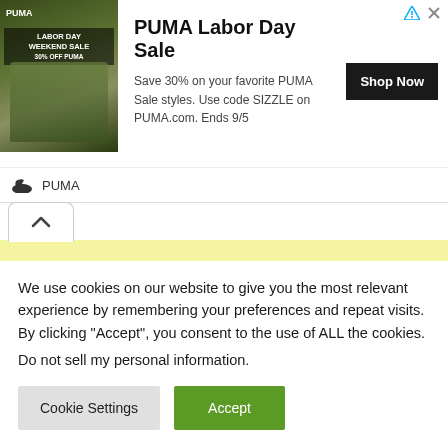[Figure (illustration): PUMA Labor Day Weekend Sale advertisement banner with photo of person wearing PUMA gear, PUMA logo, Shop Now button, and ad disclosure icons]
[Figure (illustration): Yellow sticky note area with expand/collapse tab]
We use cookies on our website to give you the most relevant experience by remembering your preferences and repeat visits. By clicking “Accept”, you consent to the use of ALL the cookies.
Do not sell my personal information.
Cookie Settings
Accept